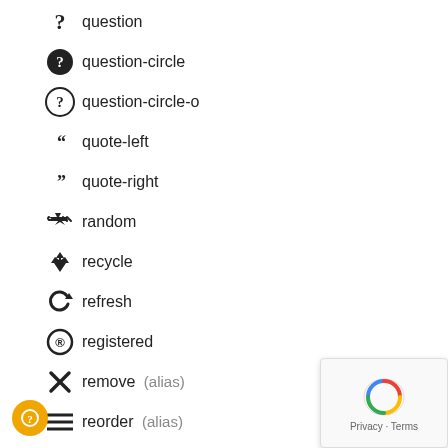question
question-circle
question-circle-o
quote-left
quote-right
random
recycle
refresh
registered
remove (alias)
reorder (alias)
reply
reply-all
retweet